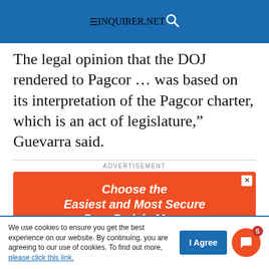INQUIRER.NET
The legal opinion that the DOJ rendered to Pagcor ... was based on its interpretation of the Pagcor charter, which is an act of legislature,” Guevarra said.
[Figure (infographic): Orange advertisement banner: 'Choose the Easiest and Most Secure Pera Padala Move. Send money DIRECTLY to your loved one's DOORSTEP!']
We use cookies to ensure you get the best experience on our website. By continuing, you are agreeing to our use of cookies. To find out more, please click this link.